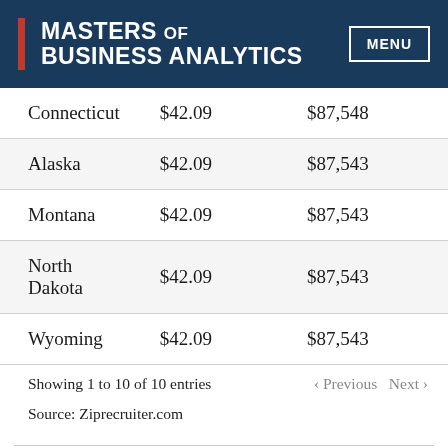MASTERS OF BUSINESS ANALYTICS | MENU
| Connecticut | $42.09 | $87,548 |
| Alaska | $42.09 | $87,543 |
| Montana | $42.09 | $87,543 |
| North Dakota | $42.09 | $87,543 |
| Wyoming | $42.09 | $87,543 |
Showing 1 to 10 of 10 entries
‹ Previous   Next ›
Source: Ziprecruiter.com